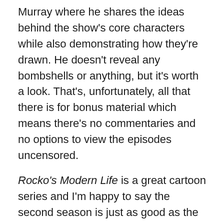Murray where he shares the ideas behind the show's core characters while also demonstrating how they're drawn. He doesn't reveal any bombshells or anything, but it's worth a look. That's, unfortunately, all that there is for bonus material which means there's no commentaries and no options to view the episodes uncensored.
Rocko's Modern Life is a great cartoon series and I'm happy to say the second season is just as good as the first. The show definitely embodies that 90's spirit of being a bit manic, loud, and certainly gross, but it also includes a surprising amount of heart and relatability as well. In some ways, it's the perfect children's cartoon because there's plenty here to entertain a 7 year old while also keeping mom and dad engaged. And pretty much all are guaranteed to find something to laugh at as well, or be